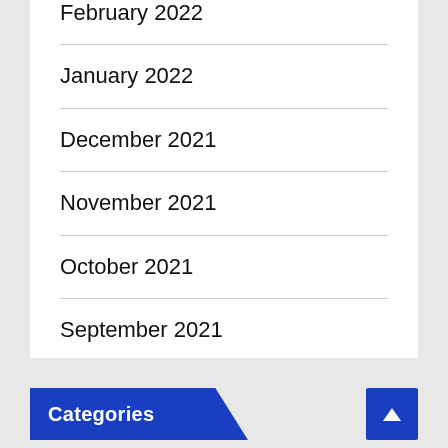February 2022
January 2022
December 2021
November 2021
October 2021
September 2021
August 2021
Categories